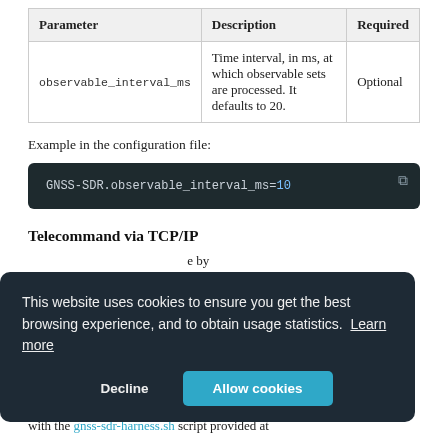| Parameter | Description | Required |
| --- | --- | --- |
| observable_interval_ms | Time interval, in ms, at which observable sets are processed. It defaults to 20. | Optional |
Example in the configuration file:
GNSS-SDR.observable_interval_ms=10
Telecommand via TCP/IP
This website uses cookies to ensure you get the best browsing experience, and to obtain usage statistics.  Learn more
with the gnss-sdr-harness.sh script provided at